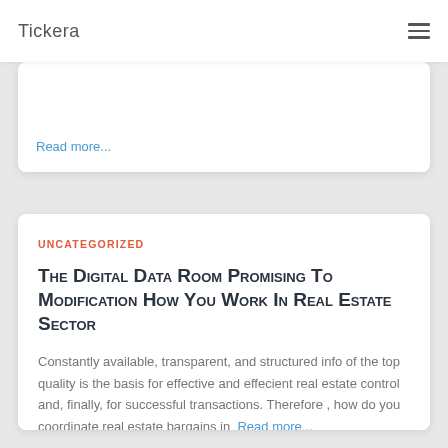Tickera
Read more...
UNCATEGORIZED
The Digital Data Room Promising To Modification How You Work In Real Estate Sector
Constantly available, transparent, and structured info of the top quality is the basis for effective and effecient real estate control and, finally, for successful transactions. Therefore , how do you coordinate real estate bargains in  Read more...